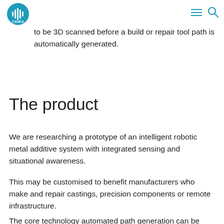CSIRO logo with navigation icons
facture or maintenance of key infrastructure components, this solution would enable components to be 3D scanned before a build or repair tool path is automatically generated.
The product
We are researching a prototype of an intelligent robotic metal additive system with integrated sensing and situational awareness.
This may be customised to benefit manufacturers who make and repair castings, precision components or remote infrastructure.
The core technology automated path generation can be applied to many robotic tasks, for example